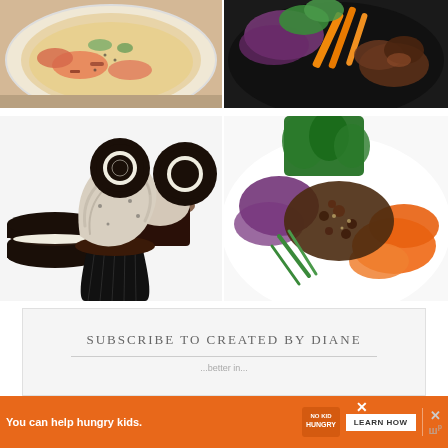[Figure (photo): Top-left: creamy soup with salmon and vegetables in a white bowl]
[Figure (photo): Top-right: Asian dish with purple cabbage, carrots, herbs, and meat]
[Figure (photo): Bottom-left: Oreo chocolate cupcakes with cookies and cream frosting and an Oreo cookie on top]
[Figure (photo): Bottom-right: Korean-style bowl with ground beef, carrots, broccoli, purple cabbage, and green onions]
SUBSCRIBE TO CREATED BY DIANE
...better in...
You can help hungry kids. NO KID HUNGRY LEARN HOW